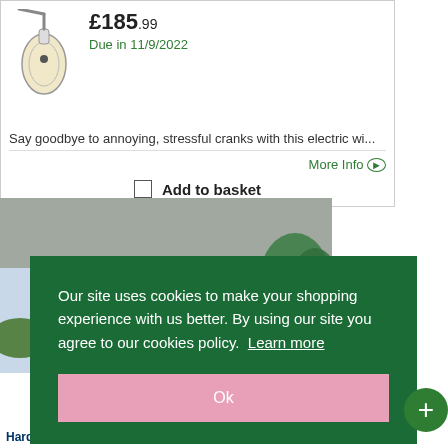£185.99
Due in 11/9/2022
Say goodbye to annoying, stressful cranks with this electric wi...
More Info
Add to basket
[Figure (photo): Awning extended from a house roofline, dark navy blue fabric, with trees and sky visible in background]
Our site uses cookies to make your shopping experience with us better. By using our site you agree to our cookies policy. Learn more
Ok
Hard-wearing fabrics